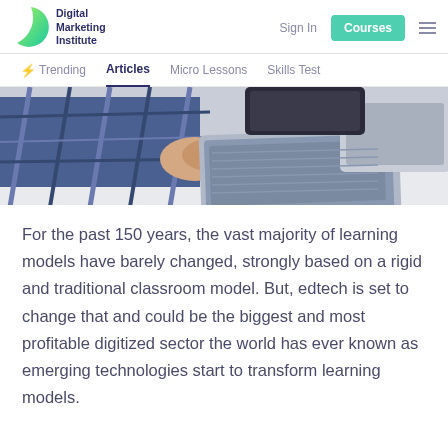Digital Marketing Institute — Sign In | Courses
[Figure (logo): Digital Marketing Institute logo with green crescent shape and dark blue text]
Trending | Articles | Micro Lessons | Skills Test
[Figure (photo): Person in plaid shirt using laptop at a desk, viewed from above]
For the past 150 years, the vast majority of learning models have barely changed, strongly based on a rigid and traditional classroom model. But, edtech is set to change that and could be the biggest and most profitable digitized sector the world has ever known as emerging technologies start to transform learning models.